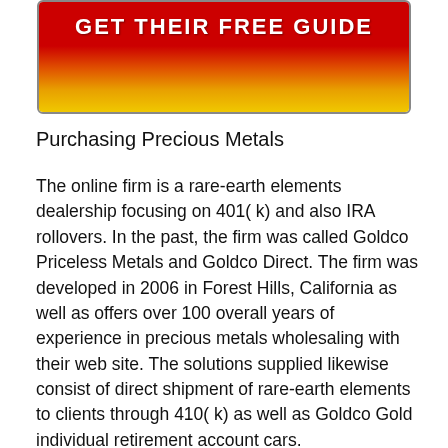[Figure (other): Red and gold gradient banner button with white bold text reading 'GET THEIR FREE GUIDE']
Purchasing Precious Metals
The online firm is a rare-earth elements dealership focusing on 401( k) and also IRA rollovers. In the past, the firm was called Goldco Priceless Metals and Goldco Direct. The firm was developed in 2006 in Forest Hills, California as well as offers over 100 overall years of experience in precious metals wholesaling with their web site. The solutions supplied likewise consist of direct shipment of rare-earth elements to clients through 410( k) as well as Goldco Gold individual retirement account cars.